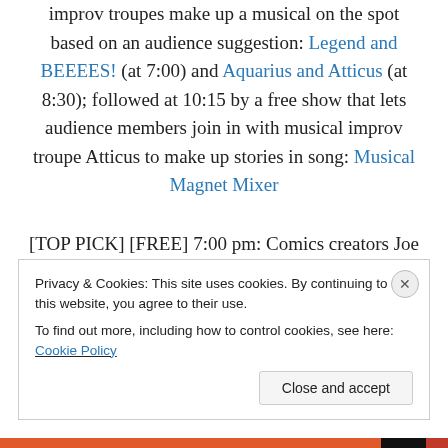improv troupes make up a musical on the spot based on an audience suggestion: Legend and BEEEES! (at 7:00) and Aquarius and Atticus (at 8:30); followed at 10:15 by a free show that lets audience members join in with musical improv troupe Atticus to make up stories in song: Musical Magnet Mixer
[TOP PICK] [FREE] 7:00 pm: Comics creators Joe Harris (Great Pacific) and comedian Liam McEneany (host of Tell Your Friends) joining super-hosts Alex Zalben, Justin Tyler, and Pete LePage in a lively & hilarious discussion about
Privacy & Cookies: This site uses cookies. By continuing to use this website, you agree to their use.
To find out more, including how to control cookies, see here: Cookie Policy